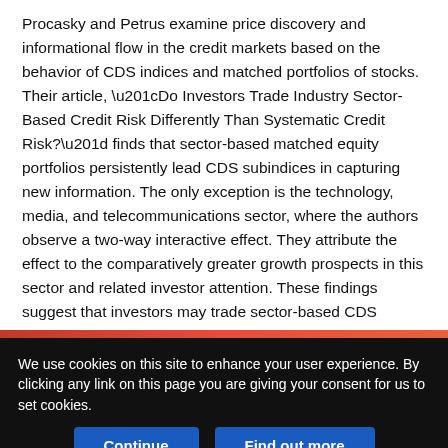Procasky and Petrus examine price discovery and informational flow in the credit markets based on the behavior of CDS indices and matched portfolios of stocks. Their article, “Do Investors Trade Industry Sector-Based Credit Risk Differently Than Systematic Credit Risk?” finds that sector-based matched equity portfolios persistently lead CDS subindices in capturing new information. The only exception is the technology, media, and telecommunications sector, where the authors observe a two-way interactive effect. They attribute the effect to the comparatively greater growth prospects in this sector and related investor attention. These findings suggest that investors may trade sector-based CDS indices very differently than systematic indices.
We use cookies on this site to enhance your user experience. By clicking any link on this page you are giving your consent for us to set cookies.